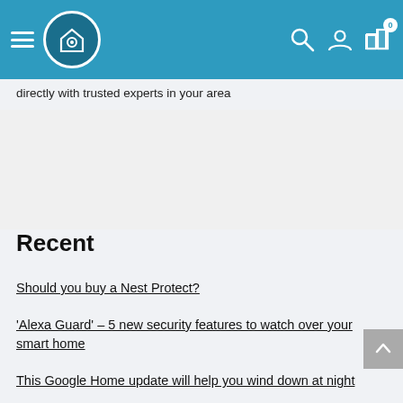Navigation bar with hamburger menu, home security logo, search icon, account icon, and compare icon with badge 0
directly with trusted experts in your area
Recent
Should you buy a Nest Protect?
'Alexa Guard' – 5 new security features to watch over your smart home
This Google Home update will help you wind down at night
Bose Introduces HomePod Competitor With Display for $400
How to use Alexa Cast